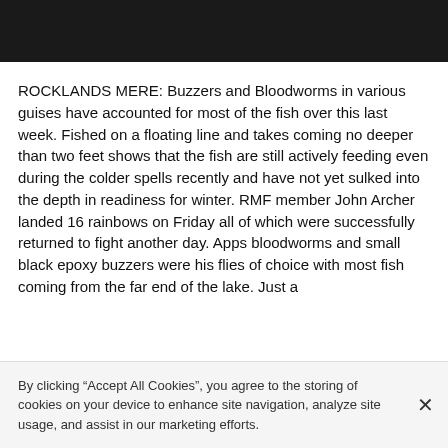[Figure (photo): Dark/black banner image at top of page]
ROCKLANDS MERE: Buzzers and Bloodworms in various guises have accounted for most of the fish over this last week. Fished on a floating line and takes coming no deeper than two feet shows that the fish are still actively feeding even during the colder spells recently and have not yet sulked into the depth in readiness for winter. RMF member John Archer landed 16 rainbows on Friday all of which were successfully returned to fight another day. Apps bloodworms and small black epoxy buzzers were his flies of choice with most fish coming from the far end of the lake. Just a
By clicking “Accept All Cookies”, you agree to the storing of cookies on your device to enhance site navigation, analyze site usage, and assist in our marketing efforts.